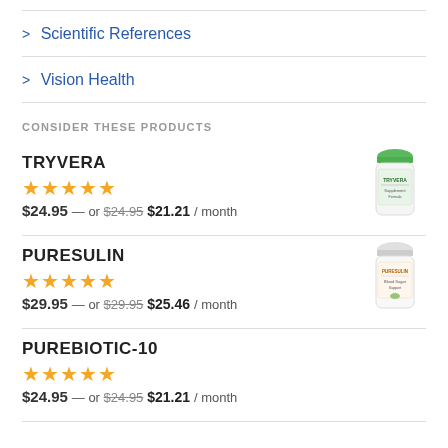> Scientific References
> Vision Health
CONSIDER THESE PRODUCTS
TRYVERA
★★★★★
$24.95 — or $24.95 $21.21 / month
PURESULIN
★★★★★
$29.95 — or $29.95 $25.46 / month
PUREBIOTIC-10
★★★★★
$24.95 — or $24.95 $21.21 / month